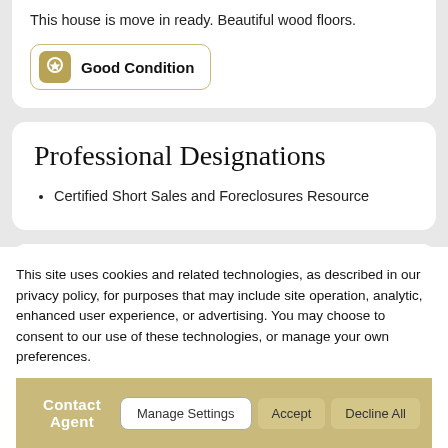This house is move in ready. Beautiful wood floors.
[Figure (other): Good Condition badge with award ribbon icon and border]
Professional Designations
Certified Short Sales and Foreclosures Resource
This site uses cookies and related technologies, as described in our privacy policy, for purposes that may include site operation, analytics, enhanced user experience, or advertising. You may choose to consent to our use of these technologies, or manage your own preferences.